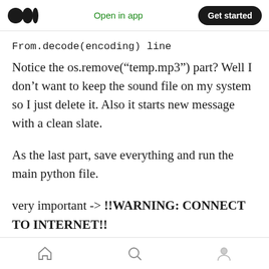Open in app | Get started
From.decode(encoding) line
Notice the os.remove(“temp.mp3”) part? Well I don’t want to keep the sound file on my system so I just delete it. Also it starts new message with a clean slate.
As the last part, save everything and run the main python file.
very important -> !!WARNING: CONNECT TO INTERNET!!
If everything goes well, You should be able to
Home | Search | Profile